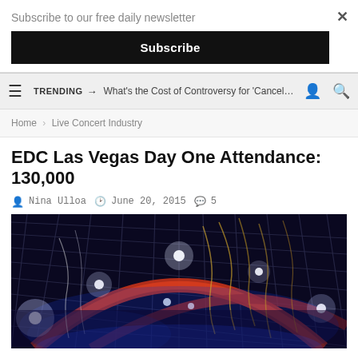Subscribe to our free daily newsletter
Subscribe
TRENDING → What's the Cost of Controversy for 'Canceled' ...
Home > Live Concert Industry
EDC Las Vegas Day One Attendance: 130,000
Nina Ulloa   June 20, 2015   5
[Figure (photo): EDC Las Vegas festival interior showing large grid ceiling structure with red arch, blue and white stage lights, and colorful hanging decorations at night]